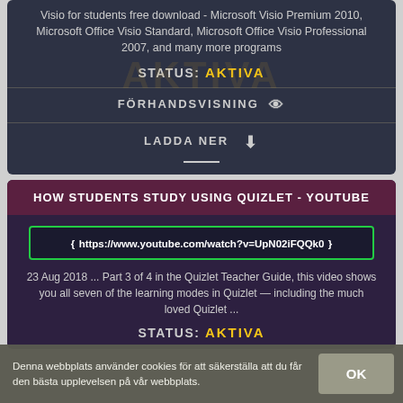Visio for students free download - Microsoft Visio Premium 2010, Microsoft Office Visio Standard, Microsoft Office Visio Professional 2007, and many more programs
STATUS: AKTIVA
FÖRHANDSVISNING
LADDA NER
HOW STUDENTS STUDY USING QUIZLET - YOUTUBE
https://www.youtube.com/watch?v=UpN02iFQQk0
23 Aug 2018 ... Part 3 of 4 in the Quizlet Teacher Guide, this video shows you all seven of the learning modes in Quizlet — including the much loved Quizlet ...
STATUS: AKTIVA
Denna webbplats använder cookies för att säkerställa att du får den bästa upplevelsen på vår webbplats.